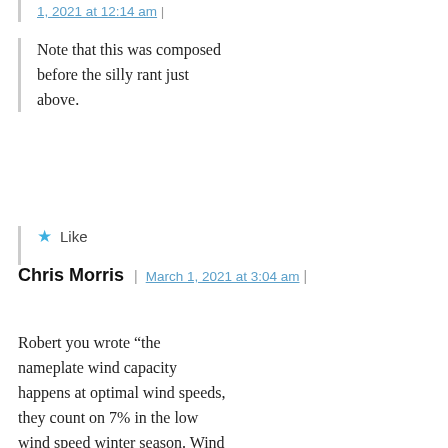1, 2021 at 12:14 am |
Note that this was composed before the silly rant just above.
★ Like
Chris Morris | March 1, 2021 at 3:04 am |
Robert you wrote “the nameplate wind capacity happens at optimal wind speeds, they count on 7% in the low wind speed winter season. Wind farms were generating some 33% of their nameplate capacity during the outage.” David Middleton had previously looked into the claims you are